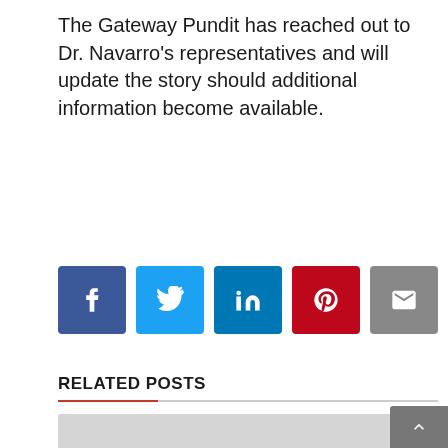The Gateway Pundit has reached out to Dr. Navarro's representatives and will update the story should additional information become available.
[Figure (infographic): Row of social share buttons: Facebook (dark blue), Twitter (light blue), LinkedIn (dark blue), Pinterest (red), Email (gray)]
RELATED POSTS
[Figure (photo): Placeholder gray image for related post thumbnail]
Schiff’s Claims (Cartoon)
✏ STATION GOSSIP  ○ August 19, 2022